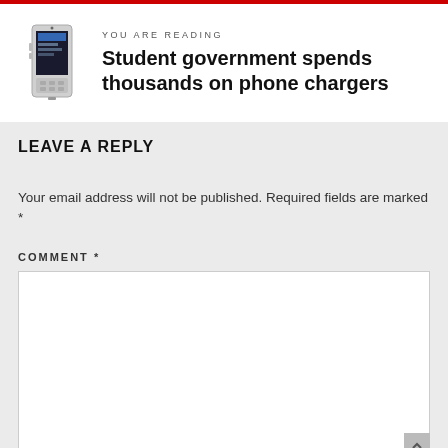YOU ARE READING
Student government spends thousands on phone chargers
LEAVE A REPLY
Your email address will not be published. Required fields are marked *
COMMENT *